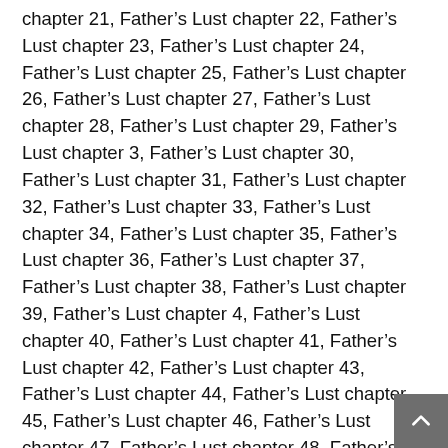chapter 21, Father's Lust chapter 22, Father's Lust chapter 23, Father's Lust chapter 24, Father's Lust chapter 25, Father's Lust chapter 26, Father's Lust chapter 27, Father's Lust chapter 28, Father's Lust chapter 29, Father's Lust chapter 3, Father's Lust chapter 30, Father's Lust chapter 31, Father's Lust chapter 32, Father's Lust chapter 33, Father's Lust chapter 34, Father's Lust chapter 35, Father's Lust chapter 36, Father's Lust chapter 37, Father's Lust chapter 38, Father's Lust chapter 39, Father's Lust chapter 4, Father's Lust chapter 40, Father's Lust chapter 41, Father's Lust chapter 42, Father's Lust chapter 43, Father's Lust chapter 44, Father's Lust chapter 45, Father's Lust chapter 46, Father's Lust chapter 47, Father's Lust chapter 48, Father's Lust chapter 49, Father's Lust chapter 5, Father's Lust chapter 50, Father's Lust chapter 51, Father's Lust chapter 52, Father's Lust chapter 53, Father's Lust chapter 54, Father's Lust chapter 55, Father's Lust chapter 56, Father's Lust chapter 57, Father's Lust chapter 58, Father's Lust chapter 59, Father's Lust chapter 6, Father's Lust chapter 60, Father's Lust chapter 61, Father's Lust chapter 62, Father's Lust chapter 63, Father's Lust chapter 64, Father's Lust chapter 65, Father's Lust chapter 66, Father's Lust chapter...